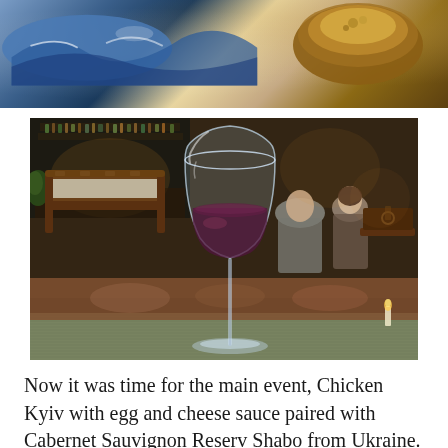[Figure (photo): Close-up photo of a decorative blue and white ceramic plate/bowl with food on top, seen from above with warm brown tones]
[Figure (photo): Restaurant interior photo showing a red wine glass in the foreground on a table, with wooden chairs, diners seated in the background, and a bar area visible]
Now it was time for the main event, Chicken Kyiv with egg and cheese sauce paired with Cabernet Sauvignon Reserv Shabo from Ukraine. Chicken